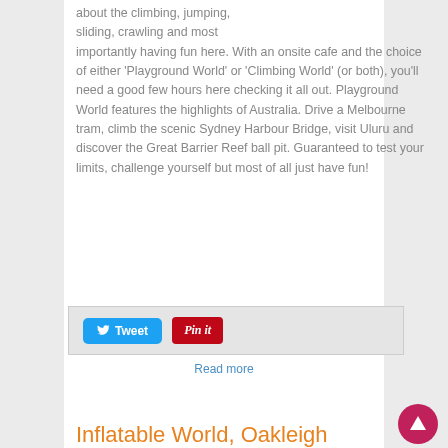about the climbing, jumping, sliding, crawling and most importantly having fun here. With an onsite cafe and the choice of either 'Playground World' or 'Climbing World' (or both), you'll need a good few hours here checking it all out. Playground World features the highlights of Australia. Drive a Melbourne tram, climb the scenic Sydney Harbour Bridge, visit Uluru and discover the Great Barrier Reef ball pit. Guaranteed to test your limits, challenge yourself but most of all just have fun!
[Figure (other): Social sharing bar with Tweet button (blue) and Pin it button (red)]
Read more
Inflatable World, Oakleigh